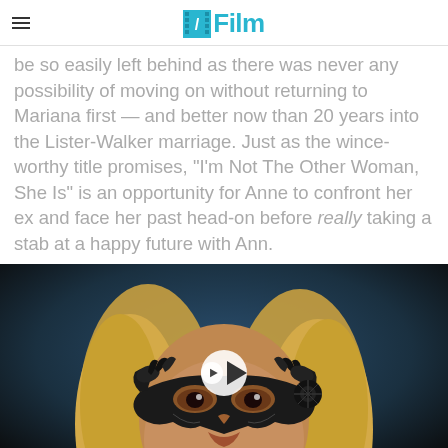/Film
be so easily left behind as there was never any possibility of moving on without returning to Mariana first — and better now than 20 years into the Lister-Walker marriage. Just as the wince-worthy title promises, "I'm Not The Other Woman, She Is" is an opportunity for Anne to confront her ex and face her past head-on before really taking a stab at a happy future with Ann.
[Figure (screenshot): Video thumbnail showing a person wearing an ornate black masquerade mask with a play button overlay, against a dark blue background.]